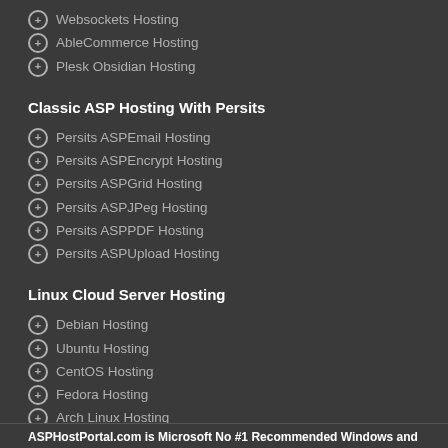Websockets Hosting
AbleCommerce Hosting
Plesk Obsidian Hosting
Classic ASP Hosting With Persits
Persits ASPEmail Hosting
Persits ASPEncrypt Hosting
Persits ASPGrid Hosting
Persits ASPJPeg Hosting
Persits ASPPDF Hosting
Persits ASPUpload Hosting
Linux Cloud Server Hosting
Debian Hosting
Ubuntu Hosting
CentOS Hosting
Fedora Hosting
Arch Linux Hosting
ASPHostPortal.com is Microsoft No #1 Recommended Windows and ASP.NET